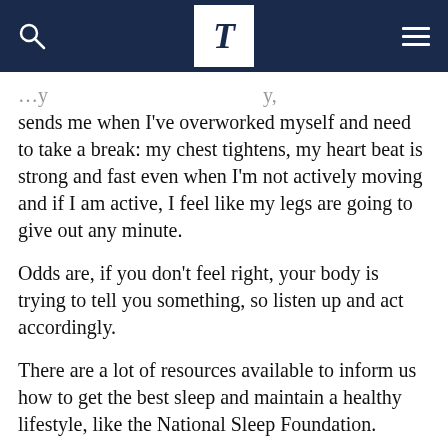T
sends me when I've overworked myself and need to take a break: my chest tightens, my heart beat is strong and fast even when I'm not actively moving and if I am active, I feel like my legs are going to give out any minute.
Odds are, if you don't feel right, your body is trying to tell you something, so listen up and act accordingly.
There are a lot of resources available to inform us how to get the best sleep and maintain a healthy lifestyle, like the National Sleep Foundation.
A few sleeping tips are related to bedtime routine and sleeping environment.